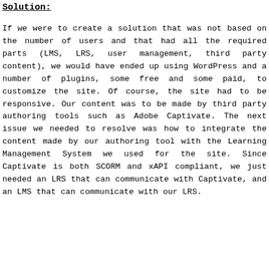Solution:
If we were to create a solution that was not based on the number of users and that had all the required parts (LMS, LRS, user management, third party content), we would have ended up using WordPress and a number of plugins, some free and some paid, to customize the site. Of course, the site had to be responsive. Our content was to be made by third party authoring tools such as Adobe Captivate. The next issue we needed to resolve was how to integrate the content made by our authoring tool with the Learning Management System we used for the site. Since Captivate is both SCORM and xAPI compliant, we just needed an LRS that can communicate with Captivate, and an LMS that can communicate with our LRS.